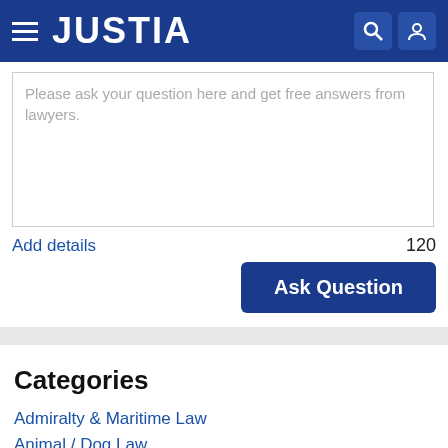JUSTIA
Please ask your question here and get free answers from lawyers.
Add details
120
Ask Question
Categories
Admiralty & Maritime Law
Animal / Dog Law
Antitrust & Trade Regulation
Arbitration & Mediation
Bankruptcy
Business Law
California Court of Appeal